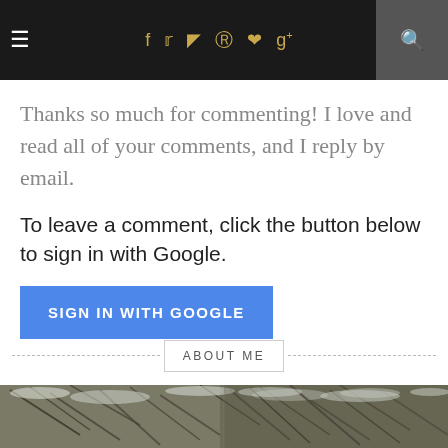≡  f  𝕥  📷  𝗽  ♥  g+  🔍
Thanks so much for commenting! I love and read all of your comments, and I reply by email.
To leave a comment, click the button below to sign in with Google.
[Figure (other): Blue 'SIGN IN WITH GOOGLE' button]
ABOUT ME
[Figure (photo): Snow-covered branches, winter nature scene]